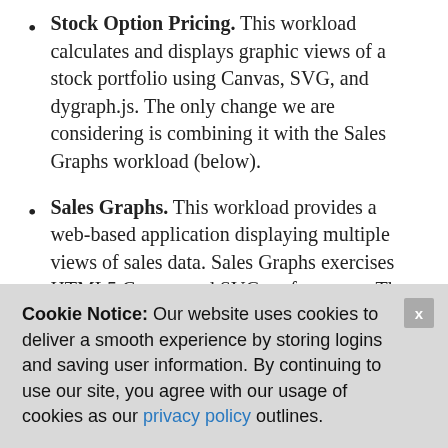Stock Option Pricing. This workload calculates and displays graphic views of a stock portfolio using Canvas, SVG, and dygraph.js. The only change we are considering is combining it with the Sales Graphs workload (below).
Sales Graphs. This workload provides a web-based application displaying multiple views of sales data. Sales Graphs exercises HTML5 Canvas and SVG performance. The only change we are considering is combining it with the Stock Option Pricing workload (above).
Encrypt Notes and OCR Scan. This workload uses ASM.js to sync notes, extract text from a
Cookie Notice: Our website uses cookies to deliver a smooth experience by storing logins and saving user information. By continuing to use our site, you agree with our usage of cookies as our privacy policy outlines.